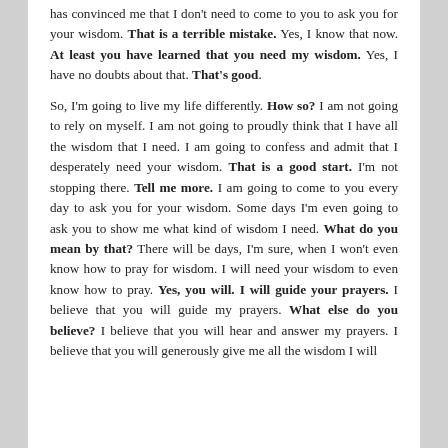has convinced me that I don't need to come to you to ask you for your wisdom. That is a terrible mistake. Yes, I know that now. At least you have learned that you need my wisdom. Yes, I have no doubts about that. That's good.
So, I'm going to live my life differently. How so? I am not going to rely on myself. I am not going to proudly think that I have all the wisdom that I need. I am going to confess and admit that I desperately need your wisdom. That is a good start. I'm not stopping there. Tell me more. I am going to come to you every day to ask you for your wisdom. Some days I'm even going to ask you to show me what kind of wisdom I need. What do you mean by that? There will be days, I'm sure, when I won't even know how to pray for wisdom. I will need your wisdom to even know how to pray. Yes, you will. I will guide your prayers. I believe that you will guide my prayers. What else do you believe? I believe that you will hear and answer my prayers. I believe that you will generously give me all the wisdom I will